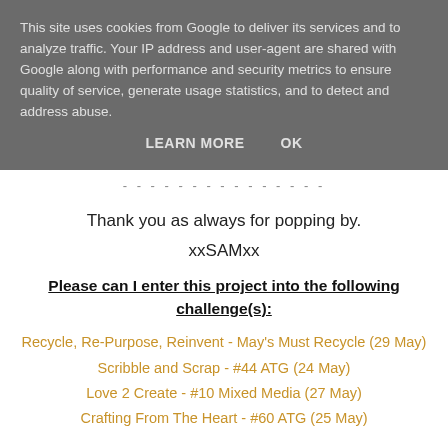This site uses cookies from Google to deliver its services and to analyze traffic. Your IP address and user-agent are shared with Google along with performance and security metrics to ensure quality of service, generate usage statistics, and to detect and address abuse.
LEARN MORE   OK
- - - - - - - - - - - - - - -
Thank you as always for popping by.
xxSAMxx
Please can I enter this project into the following challenge(s):
Recycle, Re-Purpose, Reinvent - May's Must Recycle (29 May)
Scribble and Scrap - #44 ATG (24 May)
Love 2 Create - #10 Mixed Media (27 May)
Crafting From The Heart - #60 ATG (25 May)